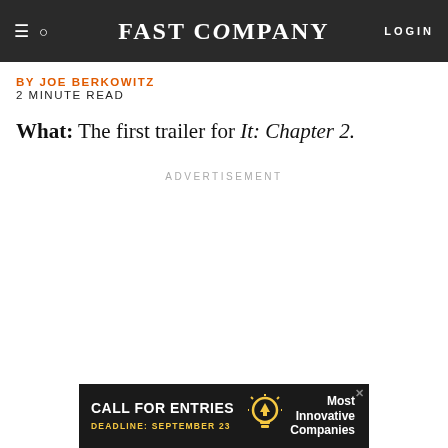FAST COMPANY — LOGIN
BY JOE BERKOWITZ
2 MINUTE READ
What: The first trailer for It: Chapter 2.
ADVERTISEMENT
[Figure (other): Bottom advertisement banner: CALL FOR ENTRIES, DEADLINE: SEPTEMBER 23, Most Innovative Companies, with lightbulb icon]